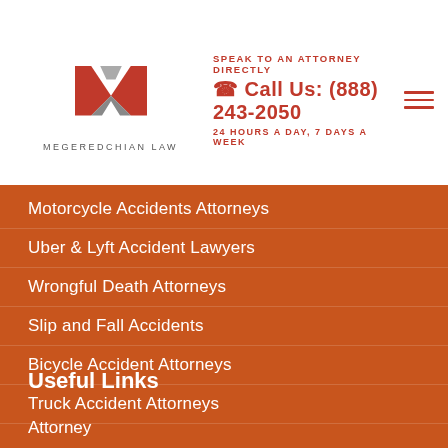[Figure (logo): Megeredchian Law logo — stylized red and gray M letter mark above text MEGEREDCHIAN LAW]
SPEAK TO AN ATTORNEY DIRECTLY
Call Us: (888) 243-2050
24 HOURS A DAY, 7 DAYS A WEEK
Motorcycle Accidents Attorneys
Uber & Lyft Accident Lawyers
Wrongful Death Attorneys
Slip and Fall Accidents
Bicycle Accident Attorneys
Truck Accident Attorneys
Useful Links
Attorney